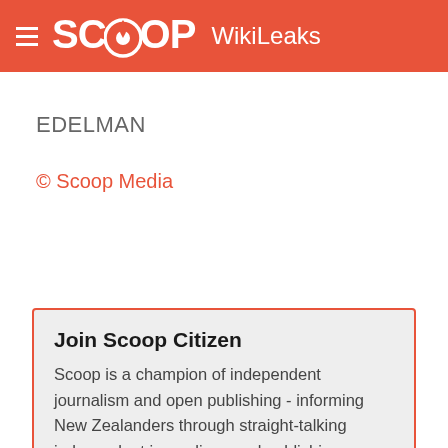SCOOP WikiLeaks
EDELMAN
© Scoop Media
Join Scoop Citizen
Scoop is a champion of independent journalism and open publishing - informing New Zealanders through straight-talking independent journalism, and publishing news from a wide range of sectors. Join us and support the publication of trustworthy, relevant, public interest news, freely accessible to all New Zealanders: